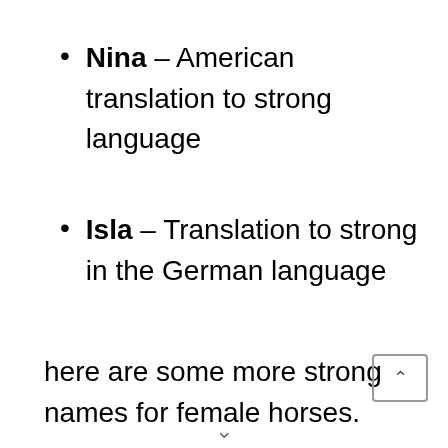Nina – American translation to strong language
Isla – Translation to strong in the German language
here are some more strong names for female horses.